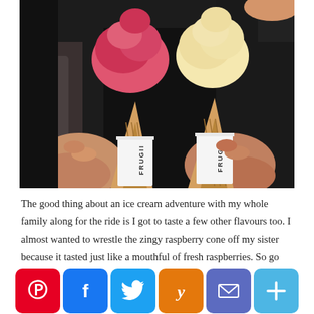[Figure (photo): Two people holding FRUGII branded ice cream cones - one with pink/raspberry gelato and one with pale yellow/vanilla gelato in waffle cones with white paper sleeves branded FRUGII]
The good thing about an ice cream adventure with my whole family along for the ride is I got to taste a few other flavours too. I almost wanted to wrestle the zingy raspberry cone off my sister because it tasted just like a mouthful of fresh raspberries. So go...
[Figure (infographic): Social media sharing buttons: Pinterest (red), Facebook (blue), Twitter (light blue), Yummly (orange), Email (purple/indigo), More (light blue plus)]